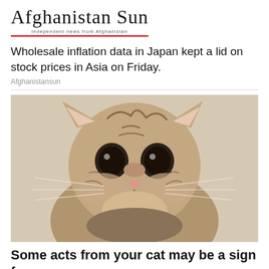Afghanistan Sun — independent news from Afghanistan
Wholesale inflation data in Japan kept a lid on stock prices in Asia on Friday.
Afghanistansun
[Figure (photo): Close-up photo of a small tabby kitten with large, sad-looking dark eyes, a pink nose, and long white whiskers, facing the camera against a light beige background.]
Some acts from your cat may be a sign for